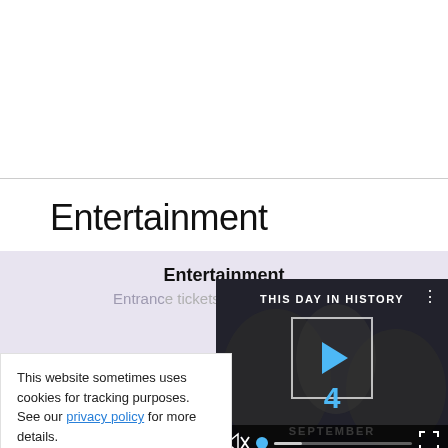Entertainment
[Figure (screenshot): Entertainment section card with purple/lavender background showing 'Entertainment' heading and 'Entrance tickets and reservations' subtext, with 'Austin' location label visible. Overlapping video player showing 'THIS DAY IN HISTORY' with a play button, '4' in blue, 'SEPTEMBER' label, video controls with mute icon, progress bar, and fullscreen button.]
This website sometimes uses cookies for tracking purposes. See our privacy policy for more details.